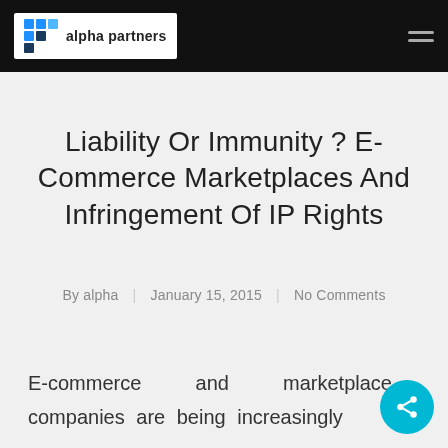alpha partners
Liability Or Immunity ? E-Commerce Marketplaces And Infringement Of IP Rights
By alpha | January 15, 2015 | No Comments
E-commerce and marketplace companies are being increasingly